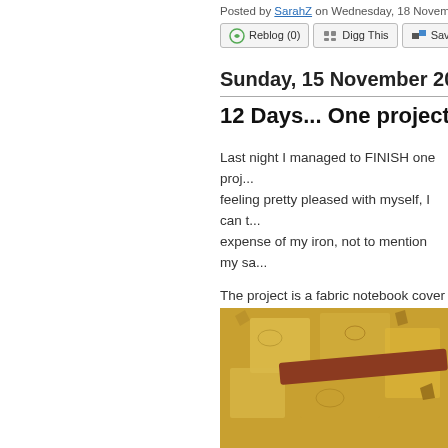Posted by SarahZ on Wednesday, 18 November... | Photography, Scrapbooking | Permalink | Comme...
Reblog (0) | Digg This | Save to de...
Sunday, 15 November 2009
12 Days... One project comp...
Last night I managed to FINISH one proj... feeling pretty pleased with myself, I can t... expense of my iron, not to mention my sa...
The project is a fabric notebook cover wi... to adapt the idea to cover an A5 ring bind... hoarding up the loft for quite some time.
[Figure (photo): Photo of fabric pieces laid out on a yellow/golden surface, appearing to be parts of a fabric notebook cover project. Various fabric pieces with decorative patterns are visible along with what appears to be a red/brown tool or ruler.]